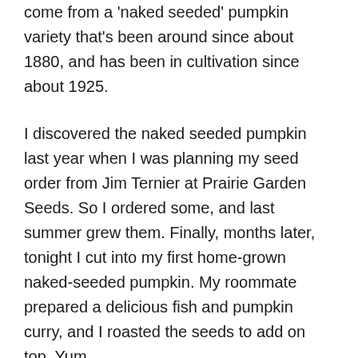come from a 'naked seeded' pumpkin variety that's been around since about 1880, and has been in cultivation since about 1925.
I discovered the naked seeded pumpkin last year when I was planning my seed order from Jim Ternier at Prairie Garden Seeds. So I ordered some, and last summer grew them. Finally, months later, tonight I cut into my first home-grown naked-seeded pumpkin. My roommate prepared a delicious fish and pumpkin curry, and I roasted the seeds to add on top. Yum.
As a dual purpose pumpkin, the naked seeded pumpkin gets a mixed review. The flesh had a decent texture, but was pretty much totally bland. The seeds, on the other hand, were excellent. It did take a little while to pick them out, but in the end I got about 1/2 cup of seeds from the one pumpkin.